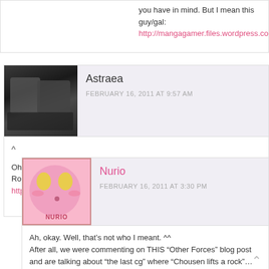you have in mind. But I mean this guy/gal: http://mangagamer.files.wordpress.com/2011/02/iml
[Figure (photo): Avatar photo of Astraea - group of people in dark clothing]
Astraea
FEBRUARY 16, 2011 AT 9:57 AM
^

Oh, Chousen from “Others” Faction, also named as “Diao Chan” in Romance of 3 Kingdoms. The one i was refering to is her:
http://www.animecharactersdatabase.com:81/images/koihimemu
REPLY
[Figure (illustration): Avatar of Nurio - pink cartoon character with yellow oval shapes]
Nurio
FEBRUARY 16, 2011 AT 3:30 PM
Ah, okay. Well, that’s not who I meant. ^^
After all, we were commenting on THIS “Other Forces” blog post and are talking about “the last cg” where “Chousen lifts a rock”… =)

Chouun does look interesting too, though.
REPLY